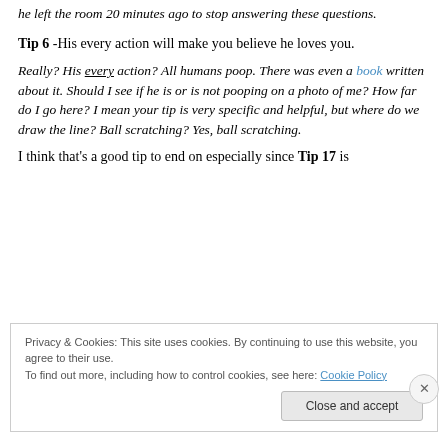he left the room 20 minutes ago to stop answering these questions.
Tip 6 -His every action will make you believe he loves you.
Really? His every action? All humans poop. There was even a book written about it. Should I see if he is or is not pooping on a photo of me? How far do I go here? I mean your tip is very specific and helpful, but where do we draw the line? Ball scratching? Yes, ball scratching.
I think that's a good tip to end on especially since Tip 17 is
Privacy & Cookies: This site uses cookies. By continuing to use this website, you agree to their use.
To find out more, including how to control cookies, see here: Cookie Policy
Close and accept